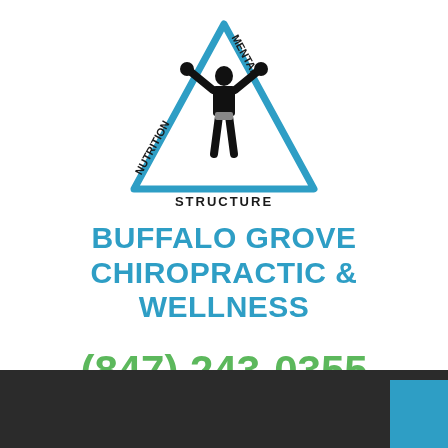[Figure (logo): Triangle logo with a bodybuilder silhouette in center. Text along triangle edges reads NUTRITION (left side), MENTAL (right side), STRUCTURE (bottom). Blue triangle outline with black figure.]
BUFFALO GROVE CHIROPRACTIC & WELLNESS
(847) 243-0355
3365 N Arlington Heights Rd., Suite K
Arlington Heights, IL 60004